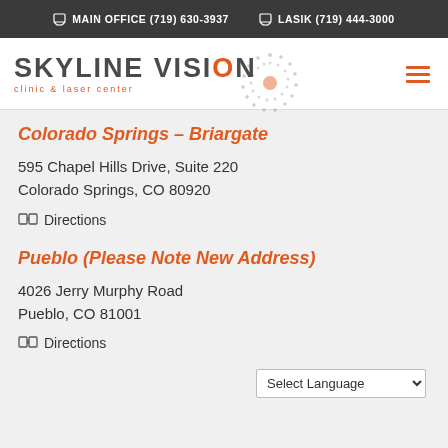MAIN OFFICE (719) 630-3937   LASIK (719) 444-3000
[Figure (logo): Skyline Vision Clinic & Laser Center logo with dot-circle pattern]
Colorado Springs – Briargate
595 Chapel Hills Drive, Suite 220
Colorado Springs, CO 80920
🗺 Directions
Pueblo (Please Note New Address)
4026 Jerry Murphy Road
Pueblo, CO 81001
🗺 Directions